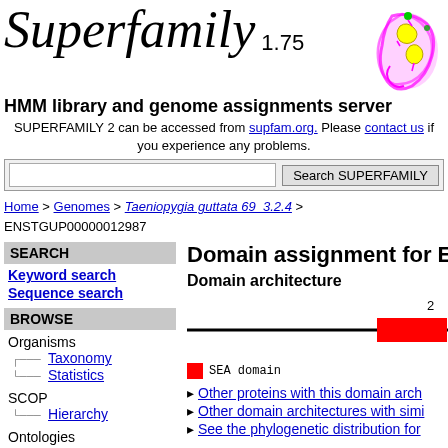Superfamily 1.75
HMM library and genome assignments server
SUPERFAMILY 2 can be accessed from supfam.org. Please contact us if you experience any problems.
Search SUPERFAMILY
Home > Genomes > Taeniopygia guttata 69_3.2.4 > ENSTGUP00000012987
SEARCH
Keyword search
Sequence search
BROWSE
Organisms
Taxonomy
Statistics
SCOP
Hierarchy
Ontologies
Domain assignment for ENST
Domain architecture
[Figure (schematic): Domain architecture diagram showing a horizontal line with a red rectangle near the right end labeled '2'. Legend shows red box = SEA domain.]
Other proteins with this domain arch
Other domain architectures with simi
See the phylogenetic distribution for